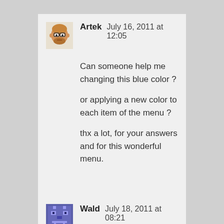[Figure (illustration): Avatar of user Artek — cartoon bald man with glasses]
Artek	July 16, 2011 at 12:05

Can someone help me changing this blue color ?

or applying a new color to each item of the menu ?

thx a lot, for your answers and for this wonderful menu.
[Figure (illustration): Avatar of user Wald — pixel-art robot/castle face icon in blue/purple]
Wald	July 18, 2011 at 08:21

Cool menu, could u pls assist in